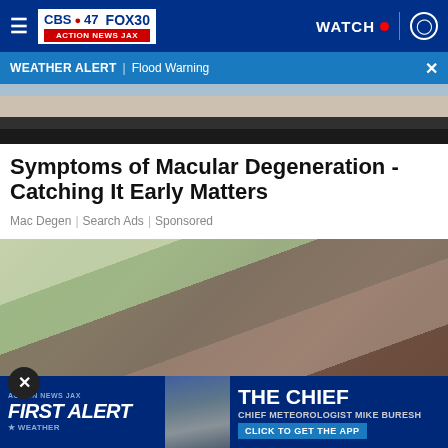CBS47 FOX30 ACTION NEWS JAX | WATCH
WEATHER ALERT | Flood Warning
[Figure (photo): Partial view of a person with blonde hair wearing a black top, cropped at neck/shoulder level]
Symptoms of Macular Degeneration - Catching It Early Matters
Mac Degen | Search Ads | Sponsored
[Figure (photo): A person in a dark hooded jacket on a rooftop holding a yellow power tool, with bare trees visible in background]
[Figure (infographic): Action News Jax First Alert Weather banner ad featuring Chief Meteorologist Mike Buresh with text THE CHIEF and CLICK TO GET THE APP]